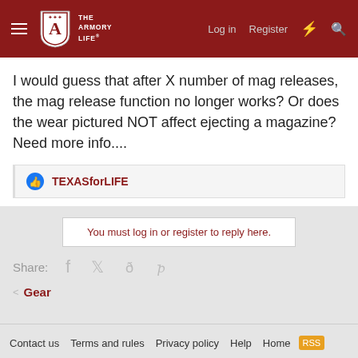The Armory Life — Log in   Register
I would guess that after X number of mag releases, the mag release function no longer works? Or does the wear pictured NOT affect ejecting a magazine? Need more info....
TEXASforLIFE
You must log in or register to reply here.
Share:
< Gear
Contact us   Terms and rules   Privacy policy   Help   Home